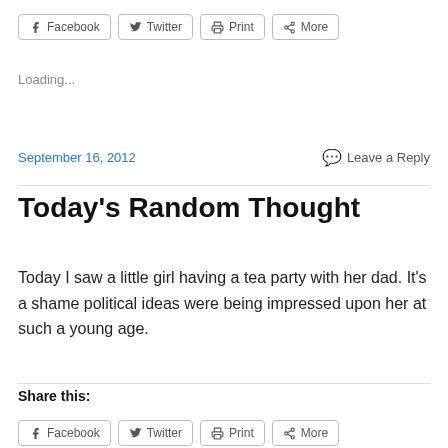[Figure (other): Share buttons row: Facebook, Twitter, Print, More]
Loading...
September 16, 2012
Leave a Reply
Today's Random Thought
Today I saw a little girl having a tea party with her dad. It's a shame political ideas were being impressed upon her at such a young age.
Share this:
[Figure (other): Share buttons row (bottom): Facebook, Twitter, Print, More]